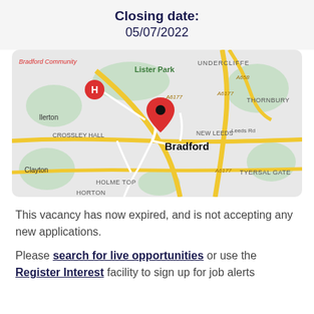Closing date: 05/07/2022
[Figure (map): Google Maps screenshot showing Bradford city centre area, with a red location pin on Bradford and a red hospital marker (H) to the north-west. Map labels include Lister Park, Undercliffe, Thornbury, Crossley Hall, New Leeds, Leeds Rd, Tyersal Gate, Holme Top, Clayton, Horton, A6177, A658.]
This vacancy has now expired, and is not accepting any new applications.
Please search for live opportunities or use the Register Interest facility to sign up for job alerts